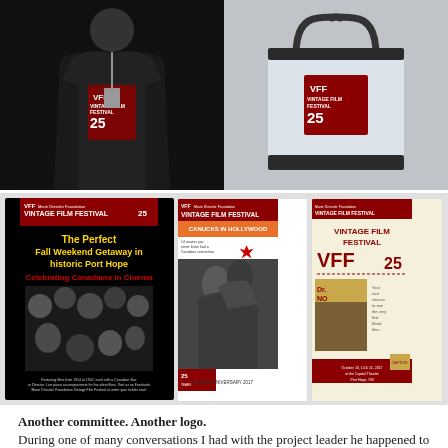[Figure (photo): Top photo strip showing two images side by side: left image shows a person wearing a black t-shirt with 'Vintage Film Festival VFF 25' logo in red; right image shows a white tote bag with black handles bearing the 'Vintage Film Festival VFF 25' logo on a red patch.]
[Figure (photo): Three vintage film festival posters side by side: left poster is black with 'The Perfect Fall Weekend Getaway in historic Port Hope – Celebrating Canadians In Cinema' with many classic film star portraits; middle poster shows a black-and-white romantic movie scene with 'Canucks in Hollywood' text; right poster is cream/beige with 'Vintage Film Festival VFF 25' and a Dr. No movie poster.]
Another committee. Another logo.
During one of many conversations I had with the project leader he happened to mention the Marie Dressler Foundation had another Committee working to create a new